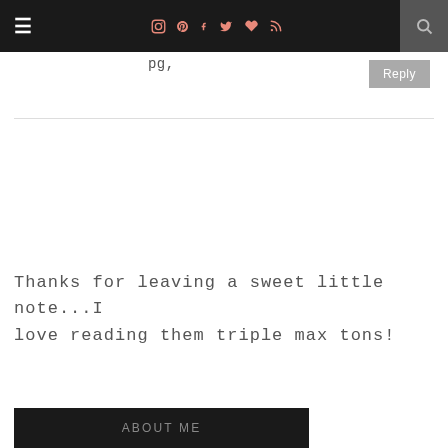≡  [instagram] [pinterest] [facebook] [twitter] [heart] [rss]  [search]
pg,
Reply
Thanks for leaving a sweet little note...I love reading them triple max tons!
ABOUT ME